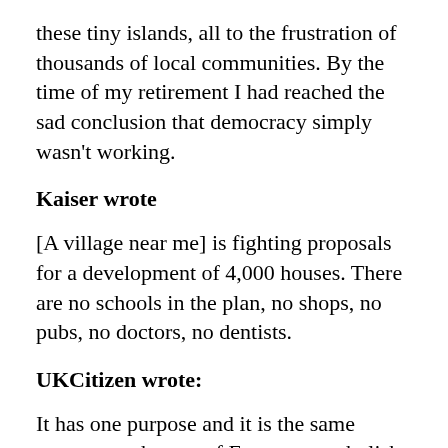these tiny islands, all to the frustration of thousands of local communities. By the time of my retirement I had reached the sad conclusion that democracy simply wasn't working.
Kaiser wrote
[A village near me] is fighting proposals for a development of 4,000 houses. There are no schools in the plan, no shops, no pubs, no doctors, no dentists.
UKCitizen wrote:
It has one purpose and it is the same purpose as the rest of Europe – to abolish the nation state. If the populace has little connection to the nation apart from location then it becomes little more than a hotel and may as well be called